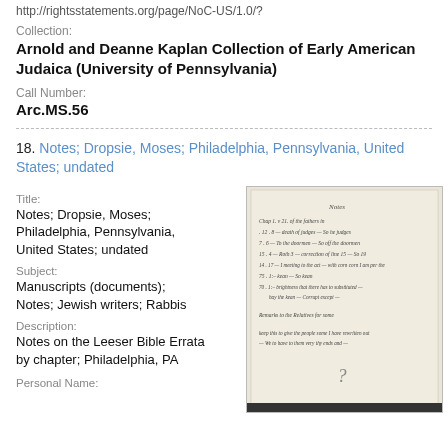http://rightsstatements.org/page/NoC-US/1.0/?
Collection:
Arnold and Deanne Kaplan Collection of Early American Judaica (University of Pennsylvania)
Call Number:
Arc.MS.56
18. Notes; Dropsie, Moses; Philadelphia, Pennsylvania, United States; undated
Title:
Notes; Dropsie, Moses; Philadelphia, Pennsylvania, United States; undated
Subject:
Manuscripts (documents); Notes; Jewish writers; Rabbis
[Figure (photo): Thumbnail image of a handwritten manuscript page with cursive text listing notes by chapter]
Description:
Notes on the Leeser Bible Errata by chapter; Philadelphia, PA
Personal Name: